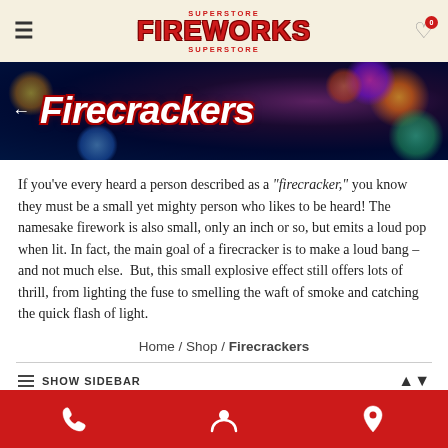SUPERSTORE FIREWORKS SUPERSTORE
[Figure (screenshot): Hero banner with fireworks background image showing colorful firework explosions. Left arrow navigation and 'Firecrackers' title in white bold italic text with red outline.]
If you've every heard a person described as a “firecracker,” you know they must be a small yet mighty person who likes to be heard! The namesake firework is also small, only an inch or so, but emits a loud pop when lit. In fact, the main goal of a firecracker is to make a loud bang – and not much else.  But, this small explosive effect still offers lots of thrill, from lighting the fuse to smelling the waft of smoke and catching the quick flash of light.
Home / Shop / Firecrackers
SHOW SIDEBAR
Phone | Account | Location icons